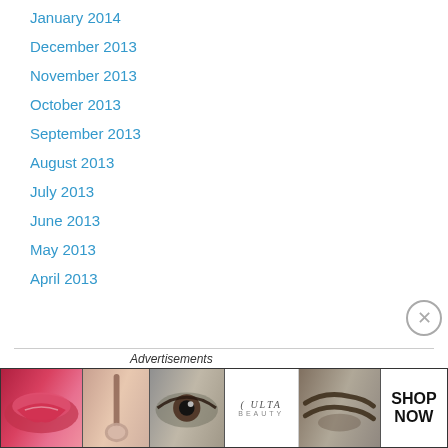January 2014
December 2013
November 2013
October 2013
September 2013
August 2013
July 2013
June 2013
May 2013
April 2013
Categories
Agent Carter
Alias
Amazing Ladies
[Figure (infographic): Ulta Beauty advertisement banner showing makeup-related photos (lips with lipstick, foundation brush, eye with mascara, Ulta Beauty logo, eyebrows close-up) with SHOP NOW call to action]